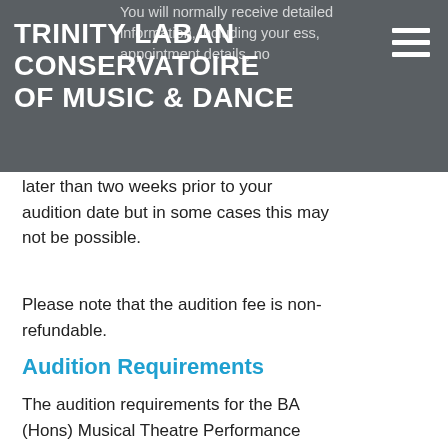TRINITY LABAN CONSERVATOIRE OF MUSIC & DANCE
You will normally receive detailed information, including your address, appointment details, no later than two weeks prior to your audition date but in some cases this may not be possible.
Please note that the audition fee is non-refundable.
Audition Requirements
The audition requirements for the BA (Hons) Musical Theatre Performance programme and the Foundation: Musical Theatre programme are the same. Please make sure you are aware of the entry requirements prior to application.